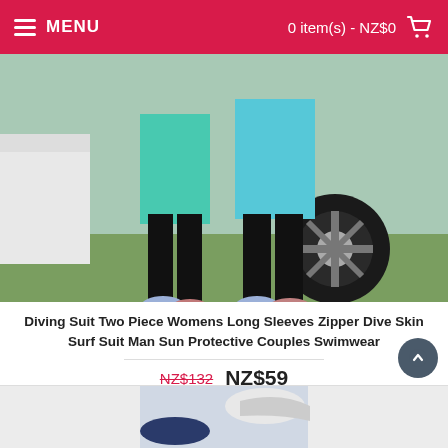MENU   0 item(s) - NZ$0
[Figure (photo): Two people wearing teal/cyan long-sleeve dive suits and black leggings with blue sneakers, standing on grass next to a vehicle tire.]
Diving Suit Two Piece Womens Long Sleeves Zipper Dive Skin Surf Suit Man Sun Protective Couples Swimwear
NZ$132  NZ$59
ADD TO CART
Add to Wish List   Add to Compare
[Figure (photo): Partial view of another product at the bottom of the page.]